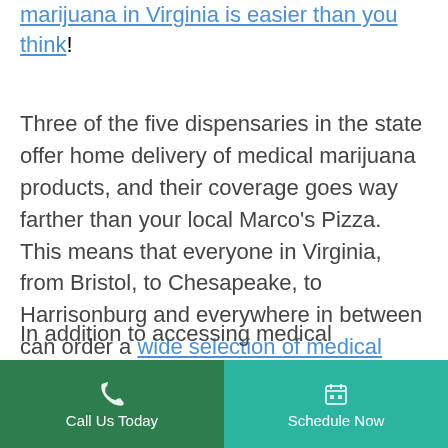marijuana in Virginia is easier than you think! (hyperlink)
Three of the five dispensaries in the state offer home delivery of medical marijuana products, and their coverage goes way farther than your local Marco's Pizza. This means that everyone in Virginia, from Bristol, to Chesapeake, to Harrisonburg and everywhere in between can order a wide selection of medical marijuana products online, including edibles, vape products, topicals, and flower, and have cannabis delivered right to their doorstep with the click of a button.
In addition to accessing medical
Call Us Today | Schedule Now